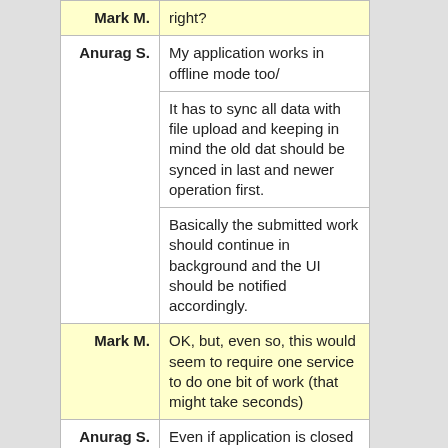| Speaker | Message |
| --- | --- |
| Mark M. | right? |
| Anurag S. | My application works in offline mode too/ |
|  | It has to sync all data with file upload and keeping in mind the old dat should be synced in last and newer operation first. |
|  | Basically the submitted work should continue in background and the UI should be notified accordingly. |
| Mark M. | OK, but, even so, this would seem to require one service to do one bit of work (that might take seconds) |
| Anurag S. | Even if application is closed or user navigates away from UI. |
| Mark M. | so, why do you need N services? and why are you worried about cancelling something |